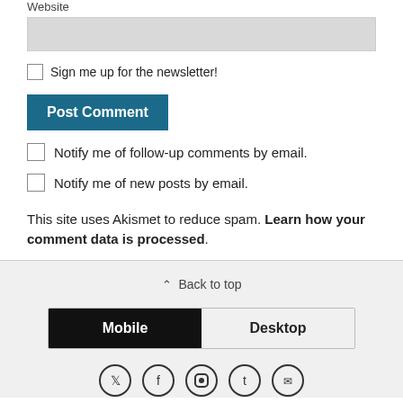Website
Sign me up for the newsletter!
Post Comment
Notify me of follow-up comments by email.
Notify me of new posts by email.
This site uses Akismet to reduce spam. Learn how your comment data is processed.
Back to top
Mobile
Desktop
[Figure (other): Social media icon circles (Twitter, Facebook, Instagram, Tumblr, Email) partially visible at bottom]